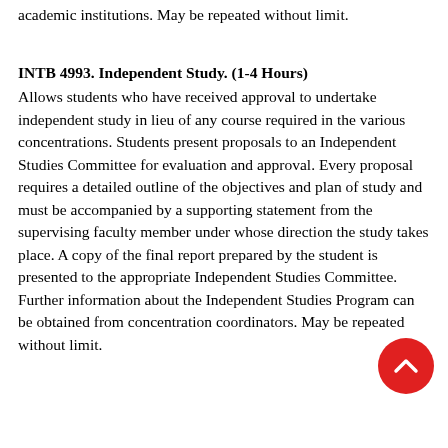academic institutions. May be repeated without limit.
INTB 4993. Independent Study. (1-4 Hours)
Allows students who have received approval to undertake independent study in lieu of any course required in the various concentrations. Students present proposals to an Independent Studies Committee for evaluation and approval. Every proposal requires a detailed outline of the objectives and plan of study and must be accompanied by a supporting statement from the supervising faculty member under whose direction the study takes place. A copy of the final report prepared by the student is presented to the appropriate Independent Studies Committee. Further information about the Independent Studies Program can be obtained from concentration coordinators. May be repeated without limit.